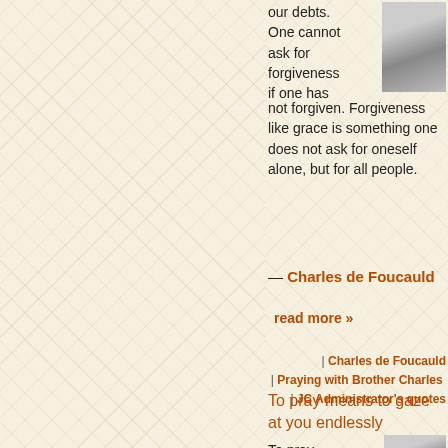our debts. One cannot ask for forgiveness if one has not forgiven. Forgiveness like grace is something one does not ask for oneself alone, but for all people.
[Figure (photo): Black and white portrait photo of an elderly bearded man]
— Charles de Foucauld read more »
| Charles de Foucauld | Praying with Brother Charles | JC Administrator's quotes
To pray means to gaze at you endlessly
To pray...
[Figure (photo): Black and white portrait photo, partially visible at bottom right]